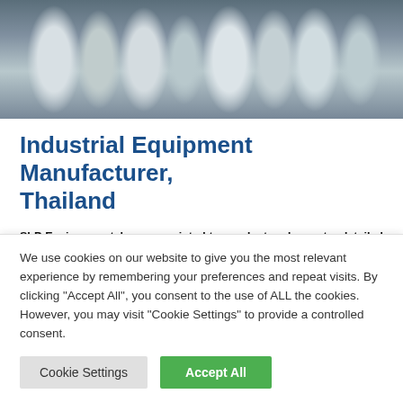[Figure (photo): Close-up photograph of silver/chrome metal industrial machine parts — cylindrical and hexagonal components, likely extrusion or die casting equipment parts, against a blurred workshop background.]
Industrial Equipment Manufacturer, Thailand
SLP Environmental was appointed to conduct and report a detailed Environmental, Health & Safety (EHS) Compliance Audit at an extrusion and die casting equipment manufacturing facility located on the Eastern Seaboard of Thailand. The audit was commissioned by
We use cookies on our website to give you the most relevant experience by remembering your preferences and repeat visits. By clicking "Accept All", you consent to the use of ALL the cookies. However, you may visit "Cookie Settings" to provide a controlled consent.